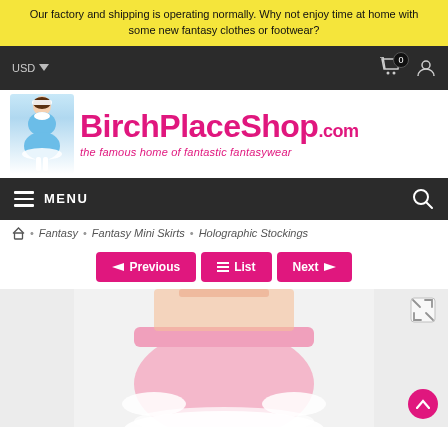Our factory and shipping is operating normally. Why not enjoy time at home with some new fantasy clothes or footwear?
[Figure (logo): BirchPlaceShop.com logo with maid figure and tagline 'the famous home of fantastic fantasywear']
MENU
Fantasy · Fantasy Mini Skirts · Holographic Stockings
Previous  List  Next
[Figure (photo): Product photo showing pink satin frilly knickers/bloomers worn by a model, white background]